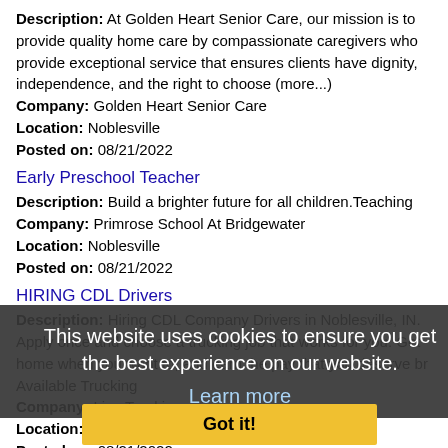Description: At Golden Heart Senior Care, our mission is to provide quality home care by compassionate caregivers who provide exceptional service that ensures clients have dignity, independence, and the right to choose (more...)
Company: Golden Heart Senior Care
Location: Noblesville
Posted on: 08/21/2022
Early Preschool Teacher
Description: Build a brighter future for all children.Teaching
Company: Primrose School At Bridgewater
Location: Noblesville
Posted on: 08/21/2022
HIRING CDL Drivers
Description: Hiring CDL Company Drivers in Noblesville, IN. Apply once and choose a trucking job that works for you. Get home when you want to, and earn the pay that you deserve br Available Trucking
Company: Live Trucking
Location: Noblesville
Posted on: 08/21/2022
This website uses cookies to ensure you get the best experience on our website.
Learn more
Got it!
Pizza Hut Server - Flexible Hours - Store 37028